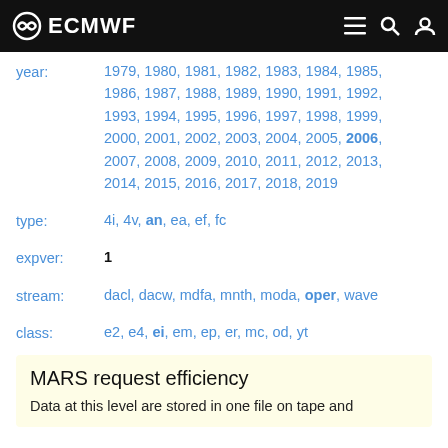ECMWF
year: 1979, 1980, 1981, 1982, 1983, 1984, 1985, 1986, 1987, 1988, 1989, 1990, 1991, 1992, 1993, 1994, 1995, 1996, 1997, 1998, 1999, 2000, 2001, 2002, 2003, 2004, 2005, 2006, 2007, 2008, 2009, 2010, 2011, 2012, 2013, 2014, 2015, 2016, 2017, 2018, 2019
type: 4i, 4v, an, ea, ef, fc
expver: 1
stream: dacl, dacw, mdfa, mnth, moda, oper, wave
class: e2, e4, ei, em, ep, er, mc, od, yt
MARS request efficiency
Data at this level are stored in one file on tape and